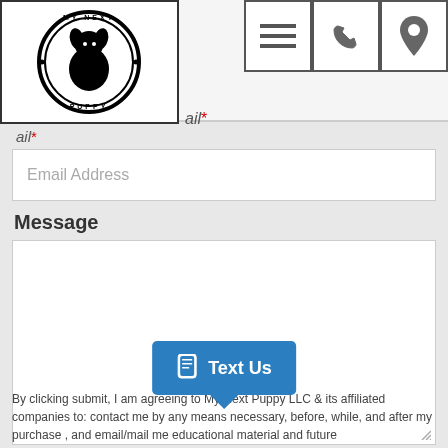[Figure (logo): My Next Puppy logo — circular black and white logo with a dog silhouette in the center and text 'MY NEXT PUPPY' around the border]
Email*
Email Address (placeholder)
Message
By clicking submit, I am agreeing to My Next Puppy LLC & its affiliated companies to: contact me by any means necessary, before, while, and after my purchase , and email/mail me educational material and future